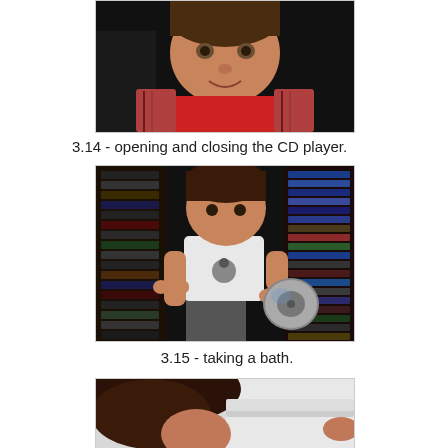[Figure (photo): Close-up photo of a toddler with dark eyes, wearing a red shirt and plaid jacket, against a dark background]
3.14 - opening and closing the CD player.
[Figure (photo): Toddler standing in front of a bookshelf full of DVDs/CDs, holding a disc in both hands, wearing a white t-shirt with a cartoon on it]
3.15 - taking a bath.
[Figure (photo): Partial view of a child's head with wet dark hair in a bath, white bathtub visible]